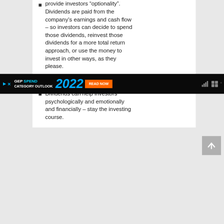provide investors “optionality”. Dividends are paid from the company’s earnings and cash flow – so investors can decide to spend those dividends, reinvest those dividends for a more total return approach, or use the money to invest in other ways, as they please.
Dividends are therefore just part of a total return approach.
Dividends can help investors psychologically and emotionally and financially – stay the investing course.
[Figure (other): Advertisement banner: GEP SPEND CATEGORY OUTLOOK 2022 READ NOW button, with ad controls and website icons]